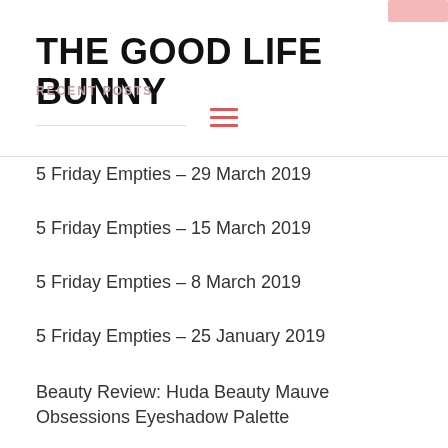THE GOOD LIFE BUNNY
RECENT POSTS
5 Friday Empties – 29 March 2019
5 Friday Empties – 15 March 2019
5 Friday Empties – 8 March 2019
5 Friday Empties – 25 January 2019
Beauty Review: Huda Beauty Mauve Obsessions Eyeshadow Palette
ARCHIVES
March 2019